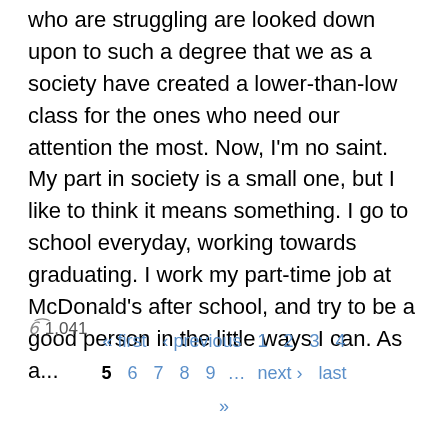who are struggling are looked down upon to such a degree that we as a society have created a lower-than-low class for the ones who need our attention the most. Now, I'm no saint. My part in society is a small one, but I like to think it means something. I go to school everyday, working towards graduating. I work my part-time job at McDonald's after school, and try to be a good person in the little ways I can. As a...
1,041
« first ‹ previous 1 2 3 4 5 6 7 8 9 … next › last »